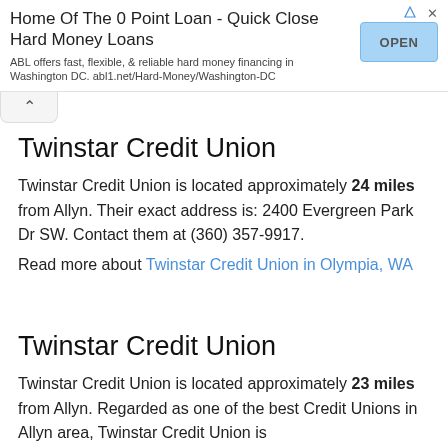[Figure (other): Advertisement banner: Home Of The 0 Point Loan - Quick Close Hard Money Loans. ABL offers fast, flexible, & reliable hard money financing in Washington DC. abl1.net/Hard-Money/Washington-DC. With OPEN button.]
Twinstar Credit Union
Twinstar Credit Union is located approximately 24 miles from Allyn. Their exact address is: 2400 Evergreen Park Dr SW. Contact them at (360) 357-9917.
Read more about Twinstar Credit Union in Olympia, WA
Twinstar Credit Union
Twinstar Credit Union is located approximately 23 miles from Allyn. Regarded as one of the best Credit Unions in Allyn area, Twinstar Credit Union is